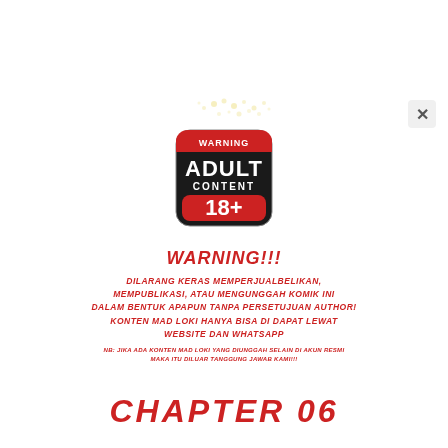[Figure (logo): Warning Adult Content 18+ badge — red and black square badge with rounded corners]
WARNING!!!
DILARANG KERAS MEMPERJUALBELIKAN, MEMPUBLIKASI, ATAU MENGUNGGAH KOMIK INI DALAM BENTUK APAPUN TANPA PERSETUJUAN AUTHOR! KONTEN MAD LOKI HANYA BISA DI DAPAT LEWAT WEBSITE DAN WHATSAPP
NB: JIKA ADA KONTEN MAD LOKI YANG DIUNGGAH SELAIN DI AKUN RESMI MAKA ITU DILUAR TANGGUNG JAWAB KAMI!!!
CHAPTER 06